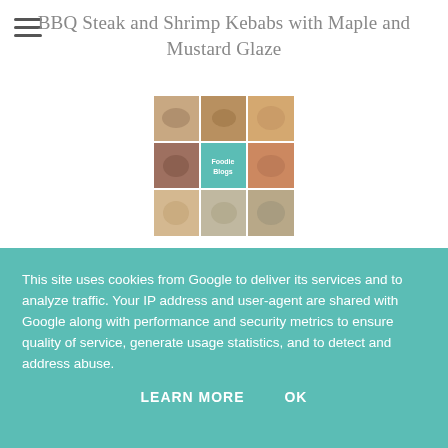BBQ Steak and Shrimp Kebabs with Maple and Mustard Glaze
[Figure (photo): A 3x3 photo collage of food images showing various dishes including kebabs and other grilled/prepared foods, with a central image showing text 'Foodie Blogs']
This site uses cookies from Google to deliver its services and to analyze traffic. Your IP address and user-agent are shared with Google along with performance and security metrics to ensure quality of service, generate usage statistics, and to detect and address abuse.
LEARN MORE    OK